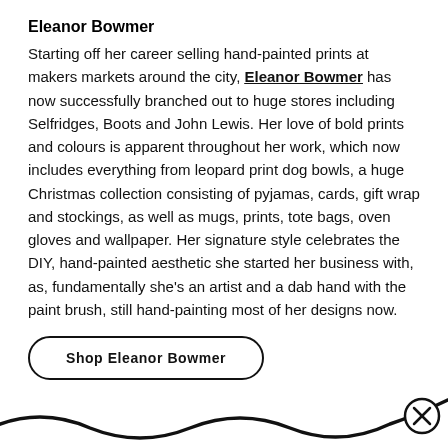Eleanor Bowmer
Starting off her career selling hand-painted prints at makers markets around the city, Eleanor Bowmer has now successfully branched out to huge stores including Selfridges, Boots and John Lewis. Her love of bold prints and colours is apparent throughout her work, which now includes everything from leopard print dog bowls, a huge Christmas collection consisting of pyjamas, cards, gift wrap and stockings, as well as mugs, prints, tote bags, oven gloves and wallpaper. Her signature style celebrates the DIY, hand-painted aesthetic she started her business with, as, fundamentally she’s an artist and a dab hand with the paint brush, still hand-painting most of her designs now.
Shop Eleanor Bowmer